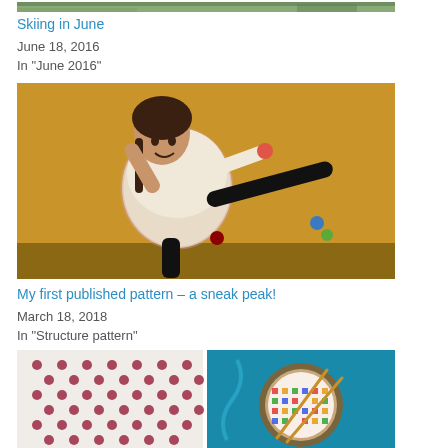[Figure (photo): Partial photo of a person outdoors, cropped at top of page]
Skiing in June
June 18, 2016
In "June 2016"
[Figure (photo): A young girl in a colorful knit sweater doing a high kick against a yellow wall background]
My first published pattern – a sneak peak!
March 18, 2018
In "Structure pattern"
[Figure (photo): Two knitting/crochet close-up photos side by side: left shows a white and dark red textured pattern, right shows colorful fair isle knitting with needles and yarn]